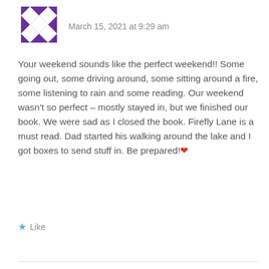[Figure (logo): Purple geometric/quilt-pattern avatar icon]
March 15, 2021 at 9:29 am
Your weekend sounds like the perfect weekend!! Some going out, some driving around, some sitting around a fire, some listening to rain and some reading. Our weekend wasn't so perfect – mostly stayed in, but we finished our book. We were sad as I closed the book. Firefly Lane is a must read. Dad started his walking around the lake and I got boxes to send stuff in. Be prepared! ❤
★ Like